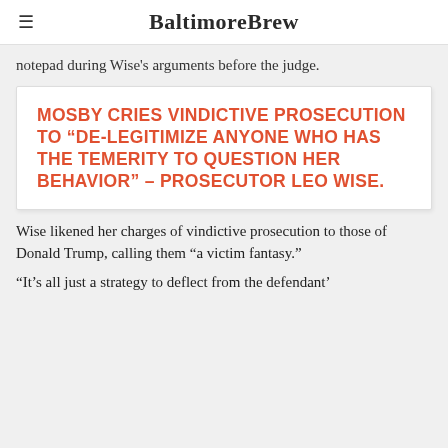BaltimoreBrew
notepad during Wise's arguments before the judge.
MOSBY CRIES VINDICTIVE PROSECUTION TO “DE-LEGITIMIZE ANYONE WHO HAS THE TEMERITY TO QUESTION HER BEHAVIOR” – PROSECUTOR LEO WISE.
Wise likened her charges of vindictive prosecution to those of Donald Trump, calling them “a victim fantasy.”
“It’s all just a strategy to deflect from the defendant’